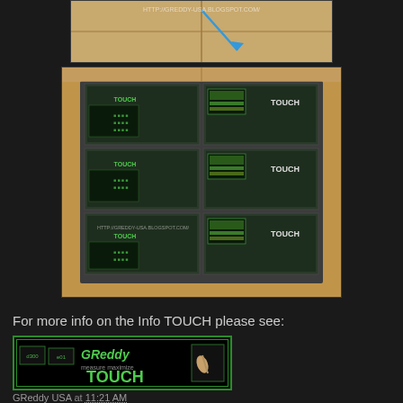[Figure (photo): Partial view of a cardboard box from above with a blue arrow marking, watermark HTTP://GREDDY-USA.BLOGSPOT.COM/]
[Figure (photo): Open cardboard box containing 6 GReddy Info TOUCH product boxes arranged in a 2x3 grid, with watermark HTTP://GREDDY-USA.BLOGSPOT.COM/]
For more info on the Info TOUCH please see:
[Figure (logo): GReddy measure maximize TOUCH banner/logo with green border, showing product image with a hand touching a screen]
GReddy USA at 11:21 AM